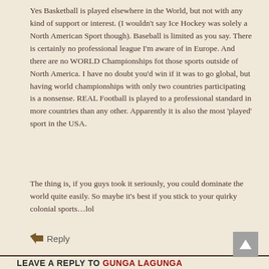Yes Basketball is played elsewhere in the World, but not with any kind of support or interest. (I wouldn't say Ice Hockey was solely a North American Sport though). Baseball is limited as you say. There is certainly no professional league I'm aware of in Europe. And there are no WORLD Championships fot those sports outside of North America. I have no doubt you'd win if it was to go global, but having world championships with only two countries participating is a nonsense. REAL Football is played to a professional standard in more countries than any other. Apparently it is also the most 'played' sport in the USA.
The thing is, if you guys took it seriously, you could dominate the world quite easily. So maybe it's best if you stick to your quirky colonial sports…lol
Reply
LEAVE A REPLY TO GUNGA LAGUNGA